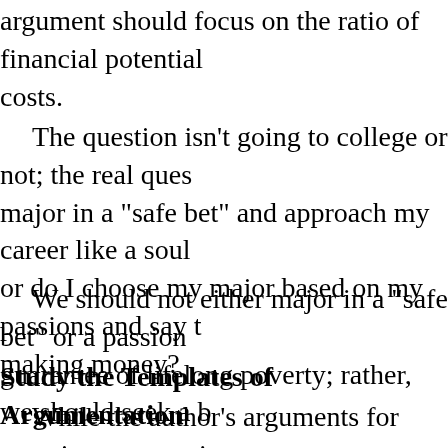argument should focus on the ratio of financial potential costs.
The question isn't going to college or not; the real ques major in a "safe bet" and approach my career like a soul or do I choose my major based on my passions and say t making money?
We should not either major in a "safe bet" or a passion guarantee of lifelong poverty; rather, we should seek a b
Study the Templates of Argumentation
While the author's arguments for meaning are convinc to consider . . .